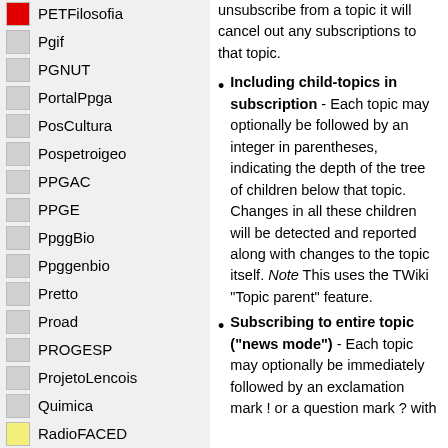PETFilosofia
Pgif
PGNUT
PortalPpga
PosCultura
Pospetroigeo
PPGAC
PPGE
PpggBio
Ppggenbio
Pretto
Proad
PROGESP
ProjetoLencois
Quimica
RadioFACED
RadioTeatro
RadioWeb
Riosymposium10
Ripe
Salasdoctai
Sat
Sodu
unsubscribe from a topic it will cancel out any subscriptions to that topic.
Including child-topics in subscription - Each topic may optionally be followed by an integer in parentheses, indicating the depth of the tree of children below that topic. Changes in all these children will be detected and reported along with changes to the topic itself. Note This uses the TWiki "Topic parent" feature.
Subscribing to entire topic ("news mode") - Each topic may optionally be immediately followed by an exclamation mark ! or a question mark ? with